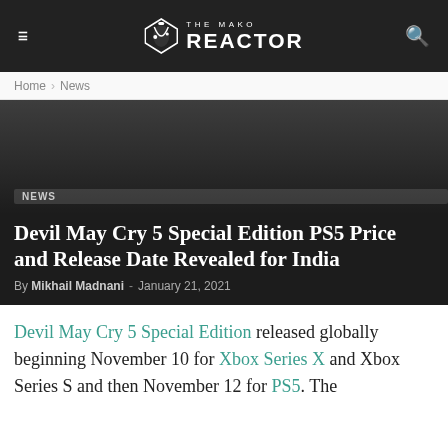THE MAKO REACTOR
Home › News
[Figure (photo): Dark hero image area with a 'News' tag label at bottom left]
Devil May Cry 5 Special Edition PS5 Price and Release Date Revealed for India
By Mikhail Madnani - January 21, 2021
Devil May Cry 5 Special Edition released globally beginning November 10 for Xbox Series X and Xbox Series S and then November 12 for PS5. The